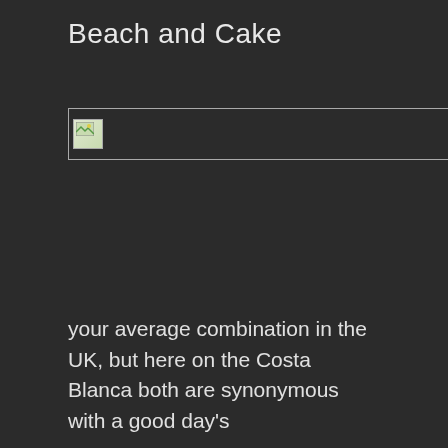Beach and Cake
[Figure (photo): Broken/unloaded image placeholder with small icon, followed by text 'Not']
your average combination in the UK, but here on the Costa Blanca both are synonymous with a good day's